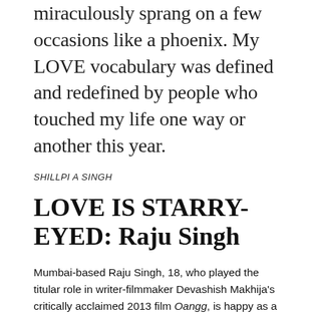miraculously sprang on a few occasions like a phoenix. My LOVE vocabulary was defined and redefined by people who touched my life one way or another this year.
SHILLPI A SINGH
LOVE IS STARRY-EYED: Raju Singh
Mumbai-based Raju Singh, 18, who played the titular role in writer-filmmaker Devashish Makhija's critically acclaimed 2013 film Oangg, is happy as a clam. The reason lies being